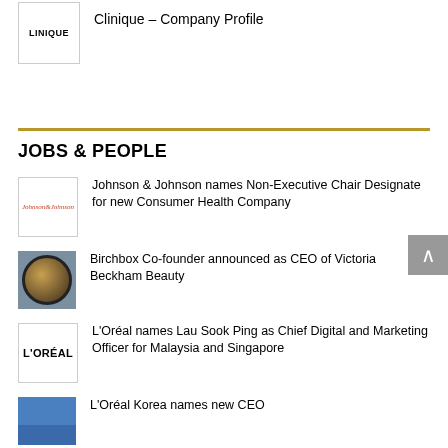[Figure (logo): Clinique logo (CLINIQUE text)]
Clinique – Company Profile
JOBS & PEOPLE
[Figure (logo): Johnson & Johnson logo]
Johnson & Johnson names Non-Executive Chair Designate for new Consumer Health Company
[Figure (photo): Birchbox cosmetic product photo]
Birchbox Co-founder announced as CEO of Victoria Beckham Beauty
[Figure (logo): L'Oréal logo]
L'Oréal names Lau Sook Ping as Chief Digital and Marketing Officer for Malaysia and Singapore
[Figure (photo): L'Oréal Korea building photo]
L'Oréal Korea names new CEO